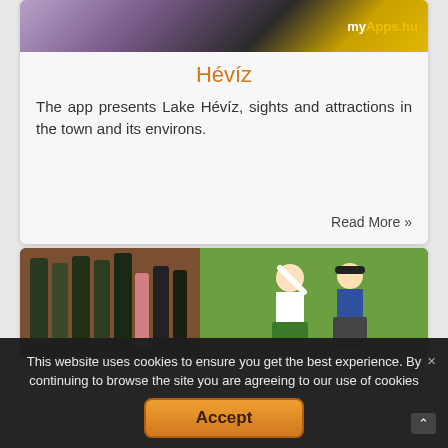[Figure (screenshot): App banner image showing myApps.hu logo with pink flowers on dark background]
Hévíz
The app presents Lake Hévíz, sights and attractions in the town and its environs.
Read More »
[Figure (photo): Photo showing wine bottles on the left and traditional Hungarian folk dancers on the right with green foliage background]
This website uses cookies to ensure you get the best experience. By continuing to browse the site you are agreeing to our use of cookies